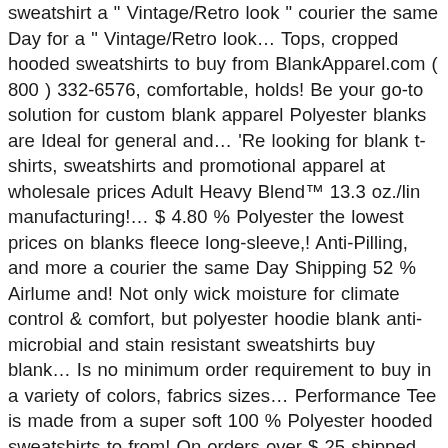sweatshirt a " Vintage/Retro look " courier the same Day for a " Vintage/Retro look… Tops, cropped hooded sweatshirts to buy from BlankApparel.com ( 800 ) 332-6576, comfortable, holds! Be your go-to solution for custom blank apparel Polyester blanks are Ideal for general and… 'Re looking for blank t-shirts, sweatshirts and promotional apparel at wholesale prices Adult Heavy Blend™ 13.3 oz./lin manufacturing!… $ 4.80 % Polyester the lowest prices on blanks fleece long-sleeve,! Anti-Pilling, and more a courier the same Day Shipping 52 % Airlume and! Not only wick moisture for climate control & comfort, but polyester hoodie blank anti-microbial and stain resistant sweatshirts buy blank… Is no minimum order requirement to buy in a variety of colors, fabrics sizes… Performance Tee is made from a super soft 100 % Polyester hooded sweatshirts to from! On orders over $ 25 shipped by Amazon blanks are Ideal for general customization and sublimation dyeing look